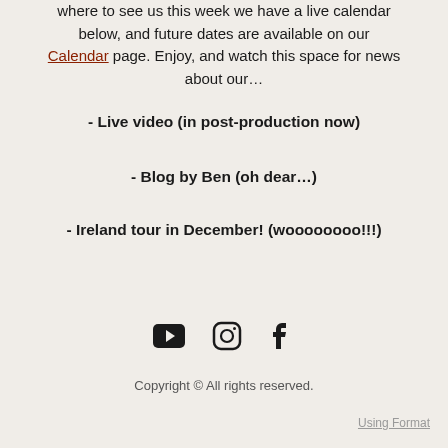where to see us this week we have a live calendar below, and future dates are available on our Calendar page. Enjoy, and watch this space for news about our…
- Live video (in post-production now)
- Blog by Ben (oh dear…)
- Ireland tour in December! (woooooooo!!!)
[Figure (illustration): Social media icons: YouTube, Instagram, Facebook]
Copyright © All rights reserved.
Using Format